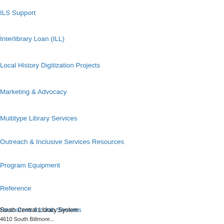ILS Support
Interlibrary Loan (ILL)
Local History Digitization Projects
Marketing & Advocacy
Multitype Library Services
Outreach & Inclusive Services Resources
Program Equipment
Reference
Resources for Job Seekers
Technology
Youth Services
South Central Library System
4610 South Biltmore...